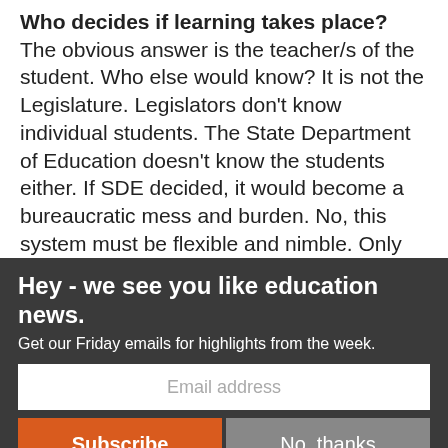Who decides if learning takes place? The obvious answer is the teacher/s of the student. Who else would know? It is not the Legislature. Legislators don't know individual students. The State Department of Education doesn't know the students either. If SDE decided, it would become a bureaucratic mess and burden. No, this system must be flexible and nimble. Only the teacher and parents can make this decision. The teacher is with his or her students every school day.
Hey - we see you like education news.
Get our Friday emails for highlights from the week.
Email address
Subscribe
No, thanks